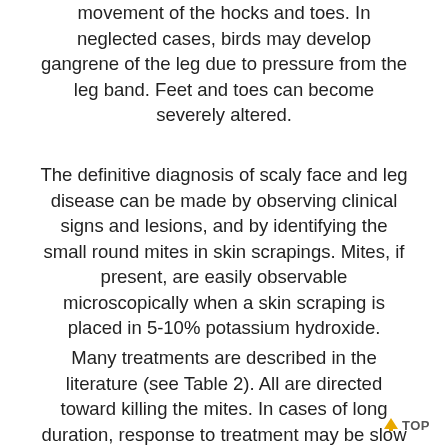movement of the hocks and toes. In neglected cases, birds may develop gangrene of the leg due to pressure from the leg band. Feet and toes can become severely altered.
The definitive diagnosis of scaly face and leg disease can be made by observing clinical signs and lesions, and by identifying the small round mites in skin scrapings. Mites, if present, are easily observable microscopically when a skin scraping is placed in 5-10% potassium hydroxide.
Many treatments are described in the literature (see Table 2). All are directed toward killing the mites. In cases of long duration, response to treatment may be slow or unsatisfactory due to relatively permanent alterations which occurred prior to treatment. One should take precautions when treating scaly face lesions. Treatment of